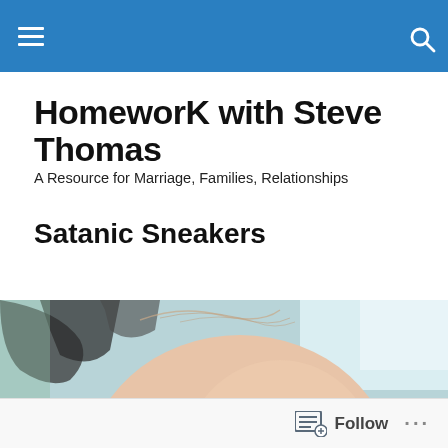HomeworkWithSteveThomas - navigation bar with hamburger menu and search icon
HomeworK with Steve Thomas
A Resource for Marriage, Families, Relationships
Satanic Sneakers
[Figure (photo): Close-up photo of the back of a baby's head, with blurred background showing what appears to be gym equipment or furniture]
Follow ...